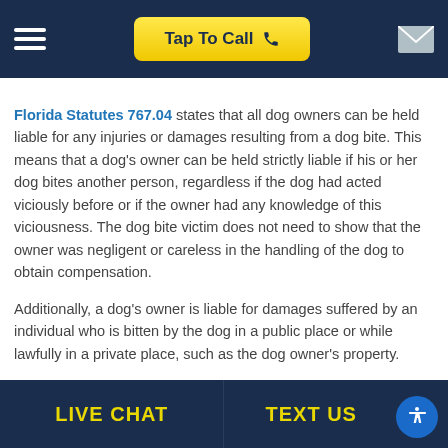Tap To Call
Florida Statutes 767.04 states that all dog owners can be held liable for any injuries or damages resulting from a dog bite. This means that a dog’s owner can be held strictly liable if his or her dog bites another person, regardless if the dog had acted viciously before or if the owner had any knowledge of this viciousness. The dog bite victim does not need to show that the owner was negligent or careless in the handling of the dog to obtain compensation.
Additionally, a dog’s owner is liable for damages suffered by an individual who is bitten by the dog in a public place or while lawfully in a private place, such as the dog owner’s property.
LIVE CHAT   TEXT US